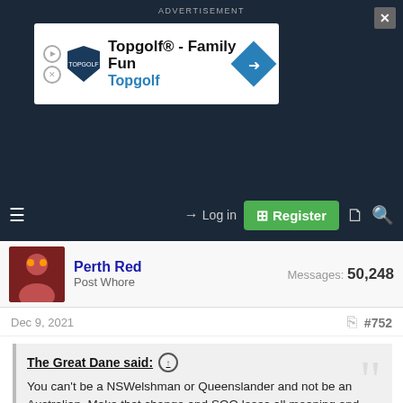[Figure (screenshot): Advertisement banner for Topgolf showing logo and text 'Topgolf® - Family Fun' and 'Topgolf' with a blue diamond arrow icon]
ADVERTISEMENT
[Figure (screenshot): Forum navigation bar with hamburger menu, Log in button, green Register button, document and search icons]
Perth Red
Post Whore
Messages: 50,248
Dec 9, 2021
#752
The Great Dane said: ↑
You can't be a NSWelshman or Queenslander and not be an Australian. Make that change and SOO loses all meaning and becomes another All Stars game for nobody to care about. That wouldn't be good for anybody, and isn't how you go about increasing international football's popularity.
BTW, Tonga's current success is unsustainable, and the fact
Click to expand...